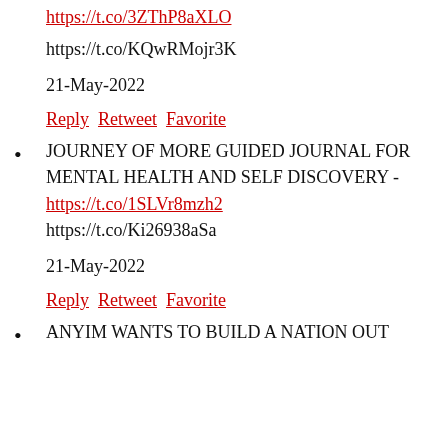https://t.co/3ZThP8aXLO
https://t.co/KQwRMojr3K
21-May-2022
Reply Retweet Favorite
JOURNEY OF MORE GUIDED JOURNAL FOR MENTAL HEALTH AND SELF DISCOVERY - https://t.co/1SLVr8mzh2 https://t.co/Ki26938aSa
21-May-2022
Reply Retweet Favorite
ANYIM WANTS TO BUILD A NATION OUT